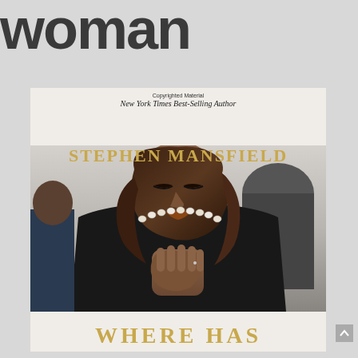woman
Copyrighted Material
New York Times Best-Selling Author
STEPHEN MANSFIELD
[Figure (photo): Woman with hands clasped together in prayer pose, wearing black outfit and white pearl necklace, eyes closed, in contemplative pose]
WHERE HAS